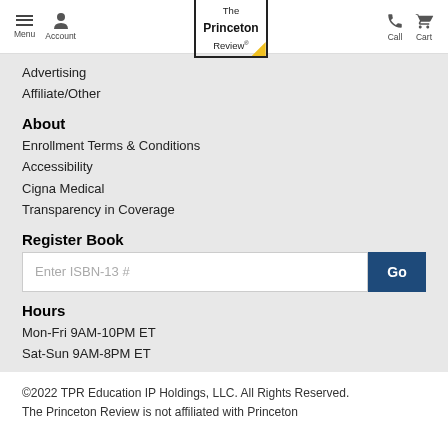Menu Account | The Princeton Review | Call Cart
Advertising
Affiliate/Other
About
Enrollment Terms & Conditions
Accessibility
Cigna Medical
Transparency in Coverage
Register Book
Enter ISBN-13 #
Hours
Mon-Fri 9AM-10PM ET
Sat-Sun 9AM-8PM ET
Hours
Mon-Fri 9AM-9PM ET
Sat-Sun 8:30AM-5PM ET
©2022 TPR Education IP Holdings, LLC. All Rights Reserved. The Princeton Review is not affiliated with Princeton